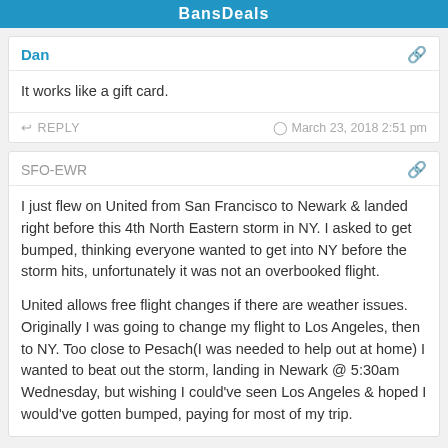BansDeals
Dan
It works like a gift card.
REPLY   March 23, 2018 2:51 pm
SFO-EWR
I just flew on United from San Francisco to Newark & landed right before this 4th North Eastern storm in NY. I asked to get bumped, thinking everyone wanted to get into NY before the storm hits, unfortunately it was not an overbooked flight.

United allows free flight changes if there are weather issues. Originally I was going to change my flight to Los Angeles, then to NY. Too close to Pesach(I was needed to help out at home) I wanted to beat out the storm, landing in Newark @ 5:30am Wednesday, but wishing I could've seen Los Angeles & hoped I would've gotten bumped, paying for most of my trip.